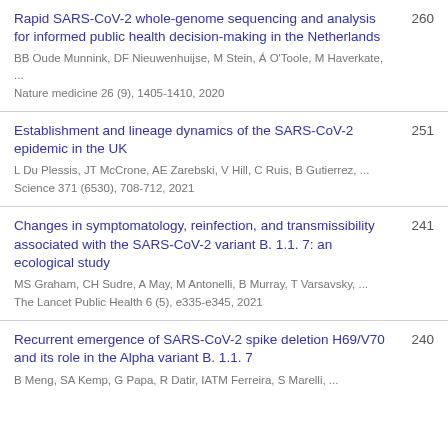Rapid SARS-CoV-2 whole-genome sequencing and analysis for informed public health decision-making in the Netherlands | BB Oude Munnink, DF Nieuwenhuijse, M Stein, Á O'Toole, M Haverkate, ... | Nature medicine 26 (9), 1405-1410, 2020 | 260
Establishment and lineage dynamics of the SARS-CoV-2 epidemic in the UK | L Du Plessis, JT McCrone, AE Zarebski, V Hill, C Ruis, B Gutierrez, ... | Science 371 (6530), 708-712, 2021 | 251
Changes in symptomatology, reinfection, and transmissibility associated with the SARS-CoV-2 variant B. 1.1. 7: an ecological study | MS Graham, CH Sudre, A May, M Antonelli, B Murray, T Varsavsky, ... | The Lancet Public Health 6 (5), e335-e345, 2021 | 241
Recurrent emergence of SARS-CoV-2 spike deletion H69/V70 and its role in the Alpha variant B. 1.1. 7 | B Meng, SA Kemp, G Papa, R Datir, IATM Ferreira, S Marelli, ... | 240